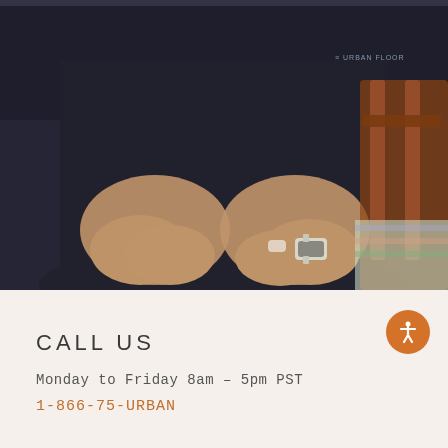[Figure (photo): A man in a dark navy polo shirt with the Urban Floor logo on the chest, shown from chest down with hands clasped together. A wooden chair is visible in the background on the right side.]
CALL US
Monday to Friday 8am - 5pm PST
1-866-75-URBAN